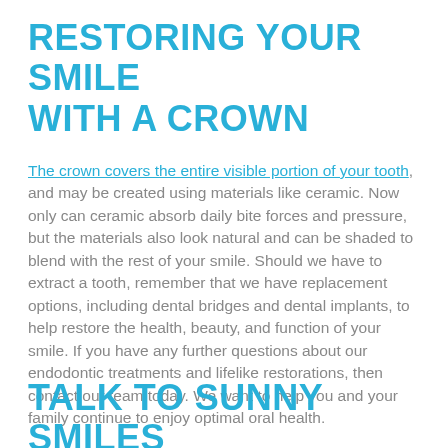RESTORING YOUR SMILE WITH A CROWN
The crown covers the entire visible portion of your tooth, and may be created using materials like ceramic. Now only can ceramic absorb daily bite forces and pressure, but the materials also look natural and can be shaded to blend with the rest of your smile. Should we have to extract a tooth, remember that we have replacement options, including dental bridges and dental implants, to help restore the health, beauty, and function of your smile. If you have any further questions about our endodontic treatments and lifelike restorations, then contact our team today. We want to help you and your family continue to enjoy optimal oral health.
TALK TO SUNNY SMILES IN EL PASO, TX ABOUT